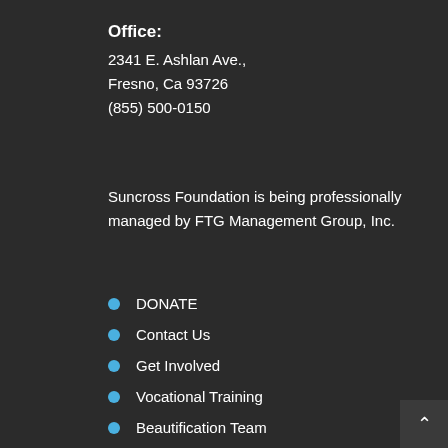Office:
2341 E. Ashlan Ave.,
Fresno, Ca 93726
(855) 500-0150
Suncross Foundation is being professionally managed by FTG Management Group, Inc.
DONATE
Contact Us
Get Involved
Vocational Training
Beautification Team
Court Ordered
Pay Set Up Fee